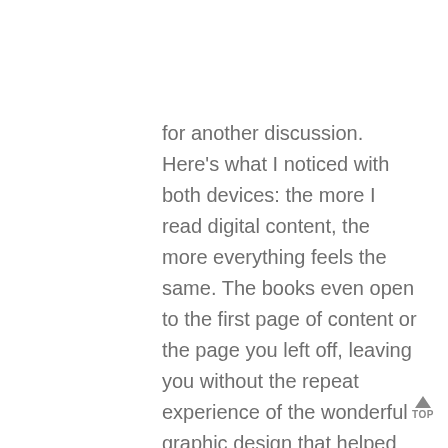for another discussion. Here's what I noticed with both devices: the more I read digital content, the more everything feels the same. The books even open to the first page of content or the page you left off, leaving you without the repeat experience of the wonderful graphic design that helped propel you into buying in the first place. The only time you're likely to even see the cover is when you first buy the book!